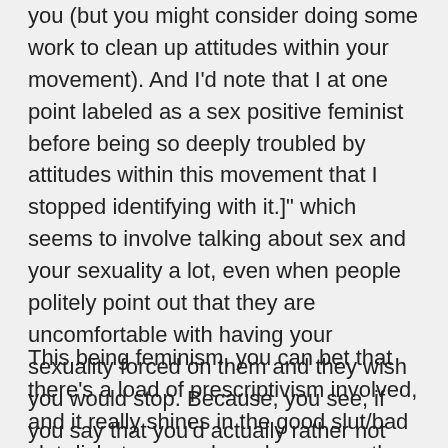you (but you might consider doing some work to clean up attitudes within your movement). And I'd note that I at one point labeled as a sex positive feminist before being so deeply troubled by attitudes within this movement that I stopped identifying with it.]" which seems to involve talking about sex and your sexuality a lot, even when people politely point out that they are uncomfortable with having your sexuality forced on them and they wish you would stop. Because, you see, if you say that you'd actually rather not hear about someone else's sexuality, you're a bad feminist because you hate sex. And you obviously have issues around sex and you are judging people and saying that they are being all icky and gross.
This being feminism, you can bet that there's a load of prescriptivism involved, and it really shines in the good slut/bad slut dichotomy, perhaps here more than anywhere else, honestly. It's funny that a movement which